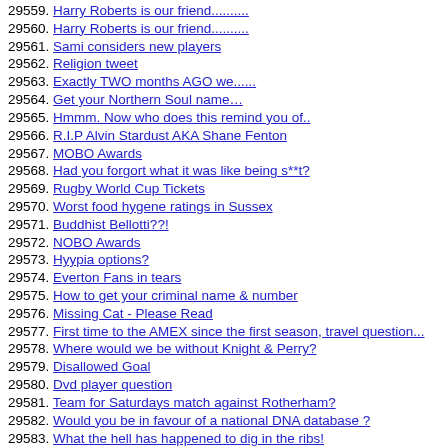29559. Harry Roberts is our friend..........
29560. Harry Roberts is our friend..........
29561. Sami considers new players
29562. Religion tweet
29563. Exactly TWO months AGO we......
29564. Get your Northern Soul name…
29565. Hmmm. Now who does this remind you of..
29566. R.I.P Alvin Stardust AKA Shane Fenton
29567. MOBO Awards
29568. Had you forgort what it was like being s**t?
29569. Rugby World Cup Tickets
29570. Worst food hygene ratings in Sussex
29571. Buddhist Bellotti??!
29572. NOBO Awards
29573. Hyypia options?
29574. Everton Fans in tears
29575. How to get your criminal name & number
29576. Missing Cat - Please Read
29577. First time to the AMEX since the first season, travel question...
29578. Where would we be without Knight & Perry?
29579. Disallowed Goal
29580. Dvd player question
29581. Team for Saturdays match against Rotherham?
29582. Would you be in favour of a national DNA database ?
29583. What the hell has happened to dig in the ribs!
29584. Balotelli,why ever sign him ?
29585. Colonge
29586. Don't worry all is not lost we will win on Saturday
29587. Alvin Stardust passes away at 72